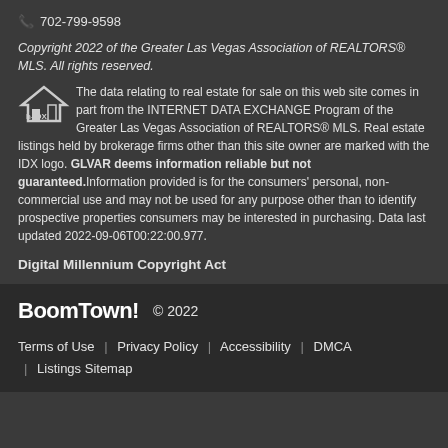702-799-9598
Copyright 2022 of the Greater Las Vegas Association of REALTORS® MLS. All rights reserved.
The data relating to real estate for sale on this web site comes in part from the INTERNET DATA EXCHANGE Program of the Greater Las Vegas Association of REALTORS® MLS. Real estate listings held by brokerage firms other than this site owner are marked with the IDX logo. GLVAR deems information reliable but not guaranteed.Information provided is for the consumers' personal, non-commercial use and may not be used for any purpose other than to identify prospective properties consumers may be interested in purchasing. Data last updated 2022-09-06T00:22:00.977.
Digital Millennium Copyright Act
BoomTown! © 2022
Terms of Use | Privacy Policy | Accessibility | DMCA | Listings Sitemap